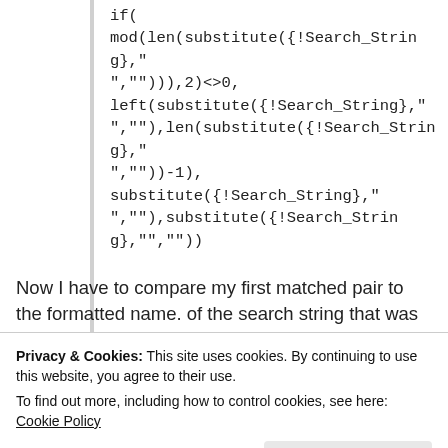if(
mod(len(substitute({!Search_String},"","")),2)<>0,
left(substitute({!Search_String},"",""),len(substitute({!Search_String},"",""))-1),
substitute({!Search_String},"","")),substitute({!Search_String},",",""))
Now I have to compare my first matched pair to the formatted name. of the search string that was formatted. I use a formula to get my matched pair:
Privacy & Cookies: This site uses cookies. By continuing to use this website, you agree to their use.
To find out more, including how to control cookies, see here: Cookie Policy
<>3,